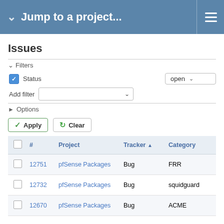Jump to a project...
Issues
Filters
Status  open
Add filter
Options
Apply  Clear
|  | # | Project | Tracker ↑ | Category |
| --- | --- | --- | --- | --- |
|  | 12751 | pfSense Packages | Bug | FRR |
|  | 12732 | pfSense Packages | Bug | squidguard |
|  | 12670 | pfSense Packages | Bug | ACME |